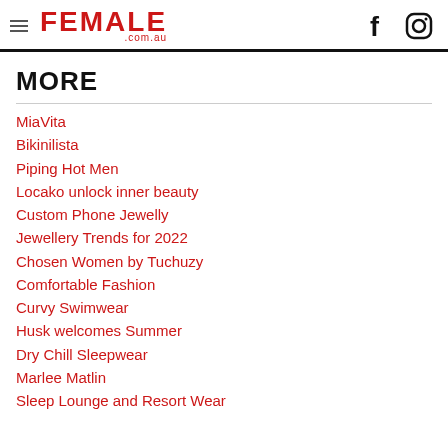FEMALE .com.au
MORE
MiaVita
Bikinilista
Piping Hot Men
Locako unlock inner beauty
Custom Phone Jewelly
Jewellery Trends for 2022
Chosen Women by Tuchuzy
Comfortable Fashion
Curvy Swimwear
Husk welcomes Summer
Dry Chill Sleepwear
Marlee Matlin
Sleep Lounge and Resort Wear